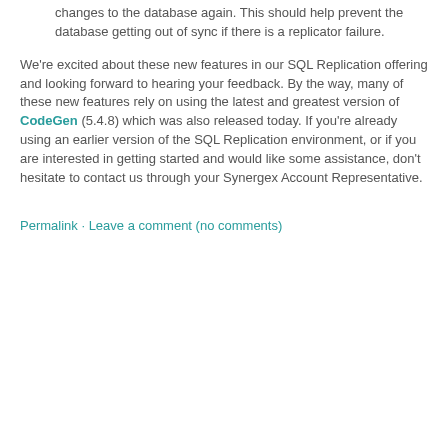changes to the database again. This should help prevent the database getting out of sync if there is a replicator failure.
We're excited about these new features in our SQL Replication offering and looking forward to hearing your feedback. By the way, many of these new features rely on using the latest and greatest version of CodeGen (5.4.8) which was also released today. If you're already using an earlier version of the SQL Replication environment, or if you are interested in getting started and would like some assistance, don't hesitate to contact us through your Synergex Account Representative.
Permalink · Leave a comment (no comments)